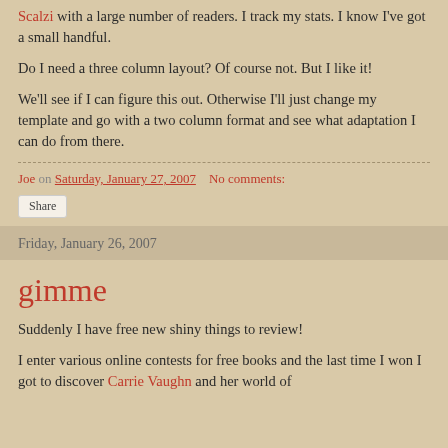Scalzi with a large number of readers. I track my stats. I know I've got a small handful.
Do I need a three column layout? Of course not. But I like it!
We'll see if I can figure this out. Otherwise I'll just change my template and go with a two column format and see what adaptation I can do from there.
Joe on Saturday, January 27, 2007   No comments:
Share
Friday, January 26, 2007
gimme
Suddenly I have free new shiny things to review!
I enter various online contests for free books and the last time I won I got to discover Carrie Vaughn and her world of